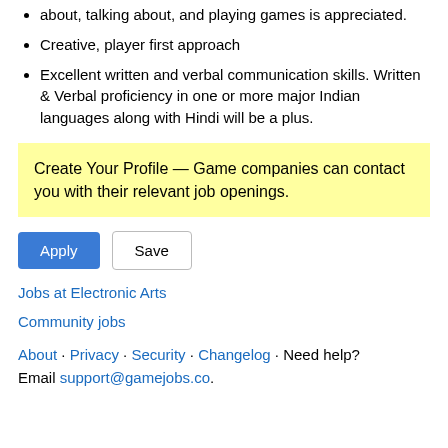about, talking about, and playing games is appreciated.
Creative, player first approach
Excellent written and verbal communication skills. Written & Verbal proficiency in one or more major Indian languages along with Hindi will be a plus.
Create Your Profile — Game companies can contact you with their relevant job openings.
Apply | Save
Jobs at Electronic Arts
Community jobs
About · Privacy · Security · Changelog · Need help? Email support@gamejobs.co.